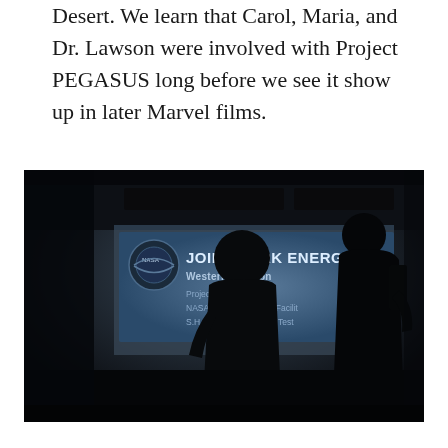Desert. We learn that Carol, Maria, and Dr. Lawson were involved with Project PEGASUS long before we see it show up in later Marvel films.
[Figure (photo): A dark, moody film still showing two silhouetted figures walking past a sign reading 'JOINT DARK ENERGY Western Division / Project Pegasus / NASA Space Radiation Facility / S.H.I.E.L.D. Accelerator Test' with a NASA logo visible on the left side of the sign.]